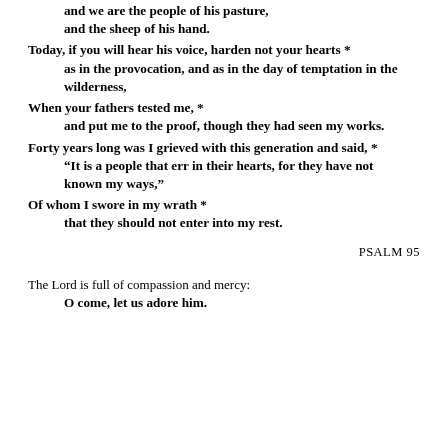For he is our God,
and we are the people of his pasture,
and the sheep of his hand.
Today, if you will hear his voice, harden not your hearts *
as in the provocation, and as in the day of temptation in the wilderness,
When your fathers tested me, *
and put me to the proof, though they had seen my works.
Forty years long was I grieved with this generation and said, *
“It is a people that err in their hearts, for they have not known my ways,”
Of whom I swore in my wrath *
that they should not enter into my rest.
PSALM 95
The Lord is full of compassion and mercy:
O come, let us adore him.